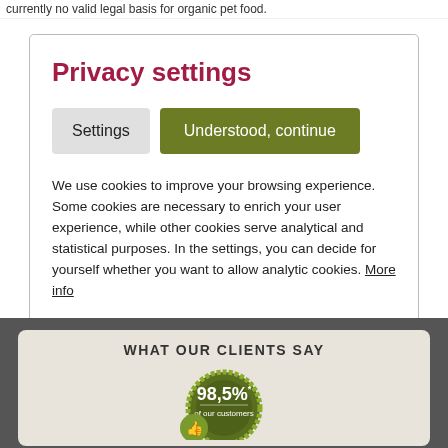currently no valid legal basis for organic pet food.
Privacy settings
Settings   Understood, continue
We use cookies to improve your browsing experience. Some cookies are necessary to enrich your user experience, while other cookies serve analytical and statistical purposes. In the settings, you can decide for yourself whether you want to allow analytic cookies. More info
WHAT OUR CLIENTS SAY
[Figure (infographic): Green circular badge with gear/wreath border showing '98,5%* of our customers' with a thumbs up icon circle on the lower left]